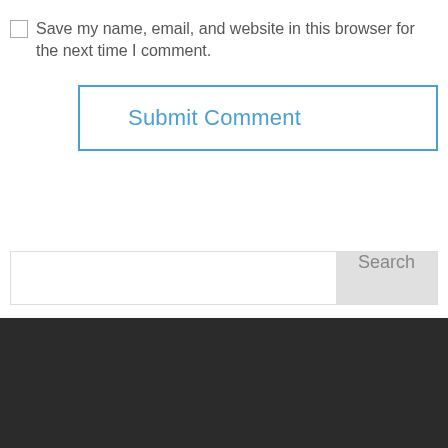Save my name, email, and website in this browser for the next time I comment.
[Figure (screenshot): Submit Comment button with blue border and blue text, right-aligned]
[Figure (screenshot): Search bar with white input field and gray Search button]